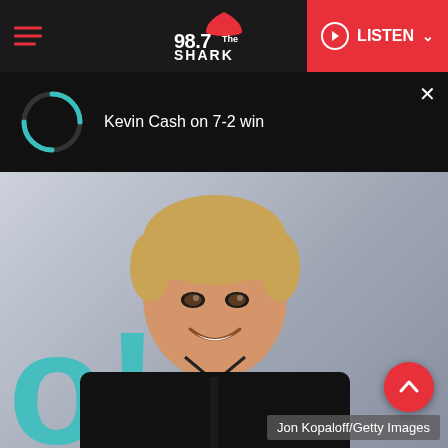98.7 The Shark
Kevin Cash on 7-2 win
[Figure (photo): Man with blonde hair wearing a black button-up shirt, smiling, photographed at an event with a teal/turquoise letter backdrop]
Jon Kopaloff/Getty Images